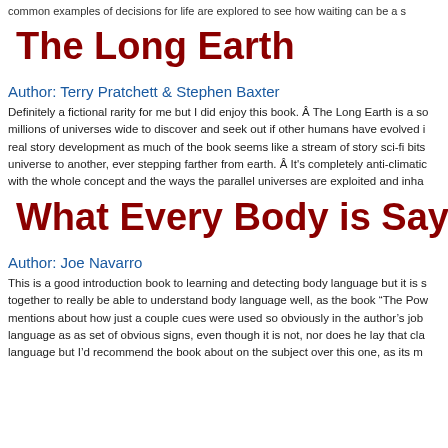common examples of decisions for life are explored to see how waiting can be a s
The Long Earth
Author: Terry Pratchett & Stephen Baxter
Definitely a fictional rarity for me but I did enjoy this book. Â The Long Earth is a so millions of universes wide to discover and seek out if other humans have evolved i real story development as much of the book seems like a stream of story sci-fi bits universe to another, ever stepping farther from earth. Â It's completely anti-climatic with the whole concept and the ways the parallel universes are exploited and inha
What Every Body is Sayi
Author: Joe Navarro
This is a good introduction book to learning and detecting body language but it is s together to really be able to understand body language well, as the book "The Pow mentions about how just a couple cues were used so obviously in the author's job language as as set of obvious signs, even though it is not, nor does he lay that cla language but I'd recommend the book about on the subject over this one, as its m